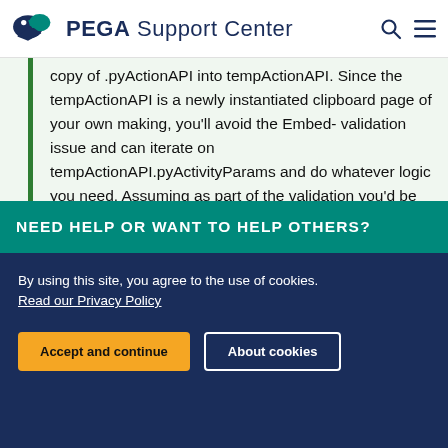PEGA Support Center
copy of .pyActionAPI into tempActionAPI. Since the tempActionAPI is a newly instantiated clipboard page of your own making, you'll avoid the Embed- validation issue and can iterate on tempActionAPI.pyActivityParams and do whatever logic you need. Assuming as part of the validation you'd be setting messages, once your iterations complete, do a page-copy of tempActionAPI back into .pyActionAPI and discard the temp page
NEED HELP OR WANT TO HELP OTHERS?
By using this site, you agree to the use of cookies.
Read our Privacy Policy
Accept and continue
About cookies